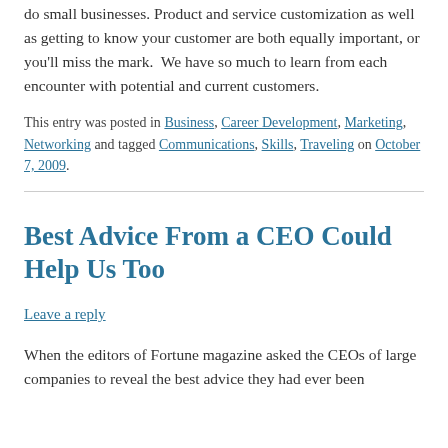do small businesses. Product and service customization as well as getting to know your customer are both equally important, or you'll miss the mark. We have so much to learn from each encounter with potential and current customers.
This entry was posted in Business, Career Development, Marketing, Networking and tagged Communications, Skills, Traveling on October 7, 2009.
Best Advice From a CEO Could Help Us Too
Leave a reply
When the editors of Fortune magazine asked the CEOs of large companies to reveal the best advice they had ever been